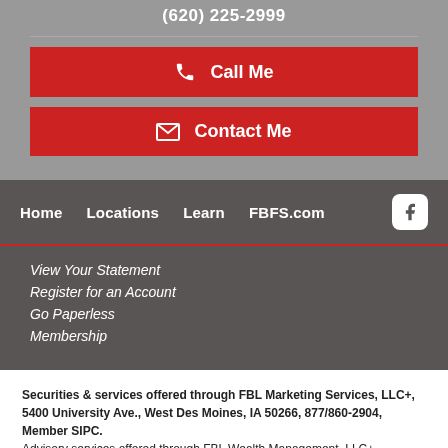(620) 225-2999
Call Me
Contact Me
Home  Locations  Learn  FBFS.com
View Your Statement
Register for an Account
Go Paperless
Membership
Securities & services offered through FBL Marketing Services, LLC+, 5400 University Ave., West Des Moines, IA 50266, 877/860-2904, Member SIPC. Advisory services offered through FBL Wealth Management, LLC+
Individual must be a registered representative of FBL Marketing Services, LLC or an